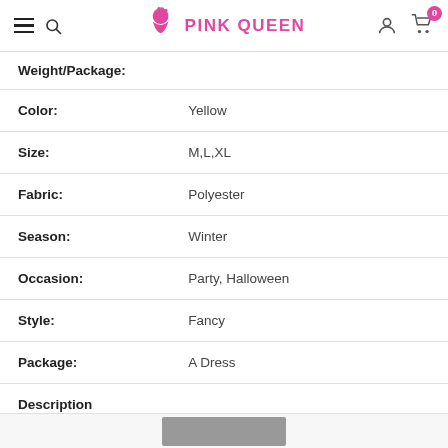PINK QUEEN — navigation header with hamburger menu, search, logo, account, and cart
| Attribute | Value |
| --- | --- |
| Weight/Package: |  |
| Color: | Yellow |
| Size: | M,L,XL |
| Fabric: | Polyester |
| Season: | Winter |
| Occasion: | Party, Halloween |
| Style: | Fancy |
| Package: | A Dress |
| Description |  |